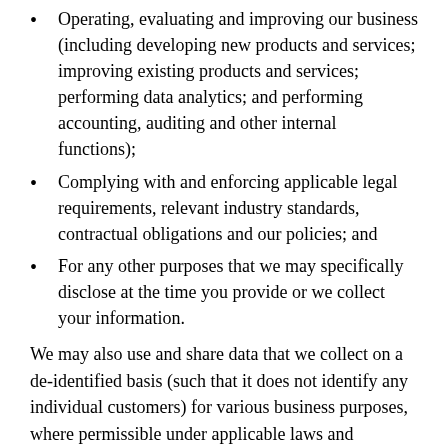Operating, evaluating and improving our business (including developing new products and services; improving existing products and services; performing data analytics; and performing accounting, auditing and other internal functions);
Complying with and enforcing applicable legal requirements, relevant industry standards, contractual obligations and our policies; and
For any other purposes that we may specifically disclose at the time you provide or we collect your information.
We may also use and share data that we collect on a de-identified basis (such that it does not identify any individual customers) for various business purposes, where permissible under applicable laws and regulations.
Disclosure of Information
We may share the information we collect from and about